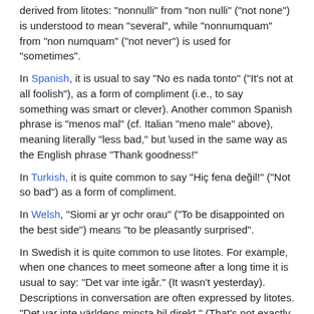derived from litotes: "nonnulli" from "non nulli" ("not none") is understood to mean "several", while "nonnumquam" from "non numquam" ("not never") is used for "sometimes".
In Spanish, it is usual to say "No es nada tonto" ("It's not at all foolish"), as a form of compliment (i.e., to say something was smart or clever). Another common Spanish phrase is "menos mal" (cf. Italian "meno male" above), meaning literally "less bad," but \used in the same way as the English phrase "Thank goodness!"
In Turkish, it is quite common to say "Hiç fena değil!" ("Not so bad") as a form of compliment.
In Welsh, "Siomi ar yr ochr orau" ("To be disappointed on the best side") means "to be pleasantly surprised".
In Swedish it is quite common to use litotes. For example, when one chances to meet someone after a long time it is usual to say: "Det var inte igår." (It wasn't yesterday). Descriptions in conversation are often expressed by litotes. "Det var inte världens minsta bil direkt." (That's not exactly the smallest car in the world.) "Det var ingen dålig väg." (This isn't a bad road.)